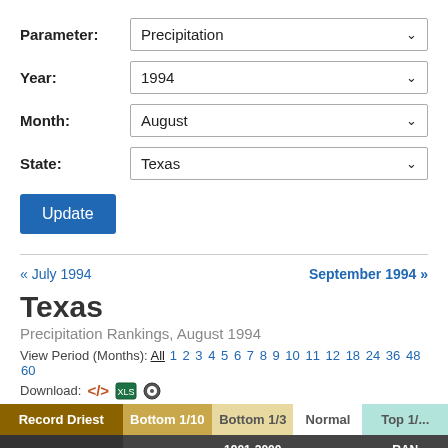Parameter: Precipitation
Year: 1994
Month: August
State: Texas
Update
« July 1994
September 1994 »
Texas
Precipitation Rankings, August 1994
View Period (Months): All 1 2 3 4 5 6 7 8 9 10 11 12 18 24 36 48 60
Download:
| Record Driest | Bottom 1/10 | Bottom 1/3 | Normal | Top 1/... |
| --- | --- | --- | --- | --- |
| August 1994 | 2.07" |  | 2.31" | -0.24" | 57th Dr... |